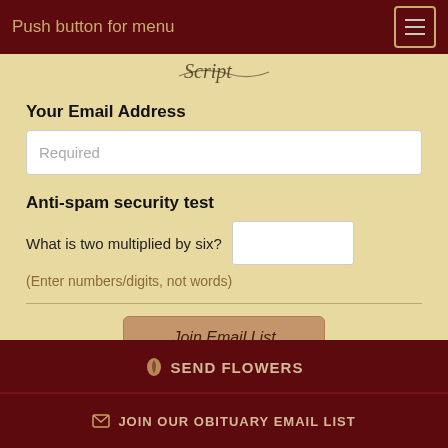Push button for menu
[Figure (illustration): Decorative script logo/text in dark ink at top center]
Your Email Address
Required
Anti-spam security test
What is two multiplied by six?
(Enter numbers/digits, not words)
Join Email List
✉ SEND FLOWERS
✉ JOIN OUR OBITUARY EMAIL LIST